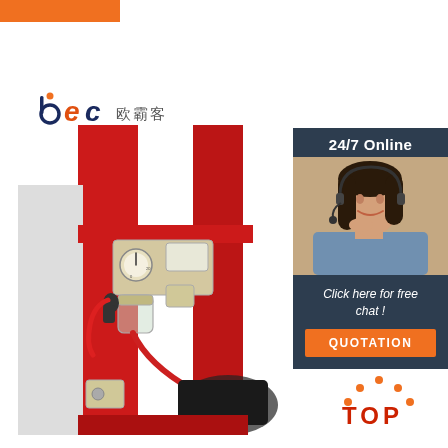[Figure (logo): BEC logo with orange dot above b, Chinese characters 欧霸客]
[Figure (photo): Red industrial tire changer/service machine with pneumatic regulator unit, pressure gauge, filter bowl, and red air hose connections]
[Figure (infographic): Dark blue sidebar with 24/7 Online text, customer service representative with headset, Click here for free chat! text, orange QUOTATION button]
[Figure (illustration): Orange TOP badge with dotted arc above and TOP text below]